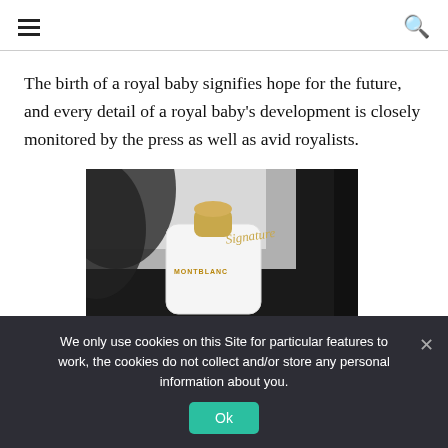hamburger menu | search icon
The birth of a royal baby signifies hope for the future, and every detail of a royal baby's development is closely monitored by the press as well as avid royalists.
[Figure (photo): Montblanc Signature perfume advertisement showing a white perfume bottle with gold cap and MONTBLANC branding, with cursive 'Signature' text, against a dark leather background. MONTBLANC is printed vertically on the right side.]
We only use cookies on this Site for particular features to work, the cookies do not collect and/or store any personal information about you.